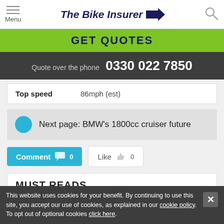Menu | The Bike Insurer
GET QUOTES
Quote over the phone 0330 022 7850
| Field | Value |
| --- | --- |
| Top speed | 86mph (est) |
Next page: BMW's 1800cc cruiser future
Comment 0   Like 0
MUST READS
This website uses cookies for your benefit. By continuing to use this site, you accept our use of cookies, as explained in our cookie policy. To opt out of optional cookies click here.